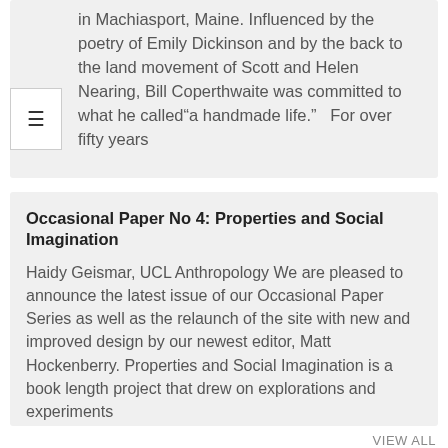in Machiasport, Maine. Influenced by the poetry of Emily Dickinson and by the back to the land movement of Scott and Helen Nearing, Bill Coperthwaite was committed to what he called“a handmade life.”  For over fifty years
Occasional Paper No 4: Properties and Social Imagination
Haidy Geismar, UCL Anthropology We are pleased to announce the latest issue of our Occasional Paper Series as well as the relaunch of the site with new and improved design by our newest editor, Matt Hockenberry. Properties and Social Imagination is a book length project that drew on explorations and experiments
VIEW ALL